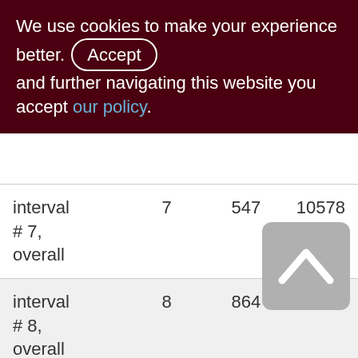We use cookies to make your experience better. By accepting and further navigating this website you accept our policy.
| interval # 7, overall | 7 | 547 | 10578 |
| interval # 8, overall | 8 | 864 | 15914 |
| interval # 9, overall | 9 | 1081 | 19764 |
| interval # 10, overall | 10 | 381 | 7196 |